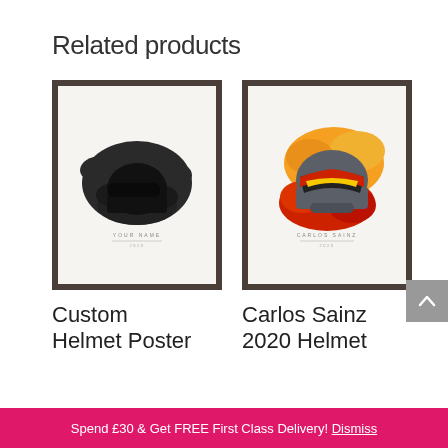Related products
[Figure (illustration): Framed poster of a custom helmet silhouette in black on a dark brushstroke background, with 'YOUR NAME' text below. Dark wood-style frame.]
[Figure (illustration): Framed poster of Carlos Sainz 2020 racing helmet in red, yellow, orange colors on an orange/red brushstroke background, with 'CARLOS SAINZ' text below. Dark wood-style frame.]
Custom Helmet Poster
Carlos Sainz 2020 Helmet
Spend £30 & Get FREE First Class Delivery! Dismiss